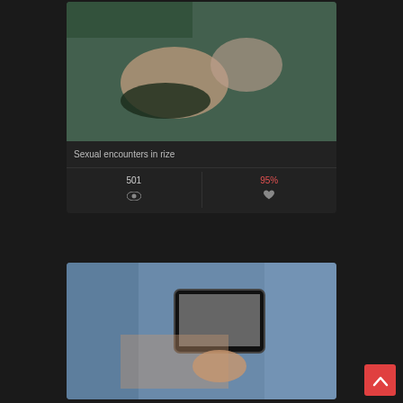[Figure (photo): Thumbnail image for adult video card 1]
Sexual encounters in rize
501 views, 95% likes
[Figure (photo): Thumbnail image for adult video card 2, showing someone holding a phone]
[Figure (other): Back to top button, red square with upward chevron]